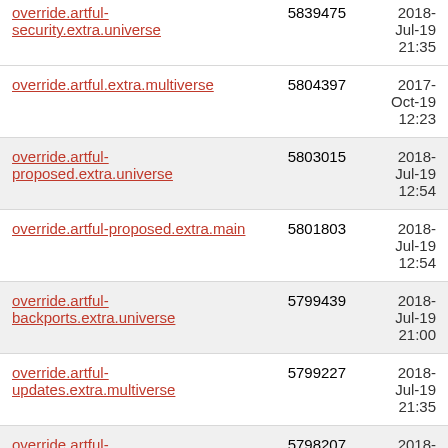| Name | Size | Date |
| --- | --- | --- |
| override.artful-security.extra.universe | 5839475 | 2018-Jul-19 21:35 |
| override.artful.extra.multiverse | 5804397 | 2017-Oct-19 12:23 |
| override.artful-proposed.extra.universe | 5803015 | 2018-Jul-19 12:54 |
| override.artful-proposed.extra.main | 5801803 | 2018-Jul-19 12:54 |
| override.artful-backports.extra.universe | 5799439 | 2018-Jul-19 21:00 |
| override.artful-updates.extra.multiverse | 5799227 | 2018-Jul-19 21:35 |
| override.artful-security.extra.multiverse | 5798207 | 2018-Jul-19 21:35 |
| override.artful-security.extra.restricted | 5798019 | 2018-Jul-19 ... |